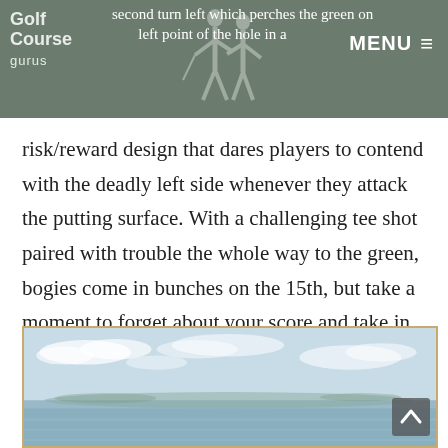Golf Course Gurus — MENU header bar
second turn left which perches the green on the far left point of the hole in a risk/reward design that dares players to contend with the deadly left side whenever they attack the putting surface. With a challenging tee shot paired with trouble the whole way to the green, bogies come in bunches on the 15th, but take a moment to forget about your score and take in the stunning view of the Cavalli Islands peppering the blue waves beyond the green.
[Figure (photo): Scenic coastal/ocean view showing blue water and sky with clouds and islands in the distance]